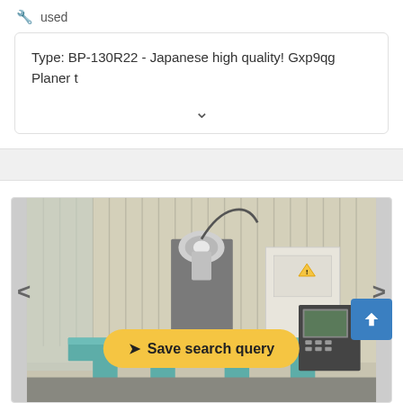🔧 used
Type: BP-130R22 - Japanese high quality! Gxp9qg Planer t
[Figure (photo): Industrial CNC planer/milling machine with teal-colored table, spindle head, and CNC control panel, photographed in a warehouse/workshop setting with corrugated metal walls]
Save search query